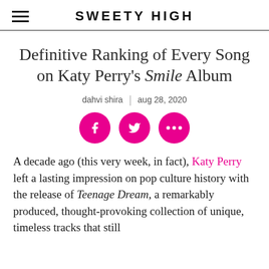SWEETY HIGH
Definitive Ranking of Every Song on Katy Perry's Smile Album
dahvi shira | aug 28, 2020
[Figure (infographic): Three pink circular social media share buttons: Facebook (f), Twitter (bird), and more options (three dots)]
A decade ago (this very week, in fact), Katy Perry left a lasting impression on pop culture history with the release of Teenage Dream, a remarkably produced, thought-provoking collection of unique, timeless tracks that still